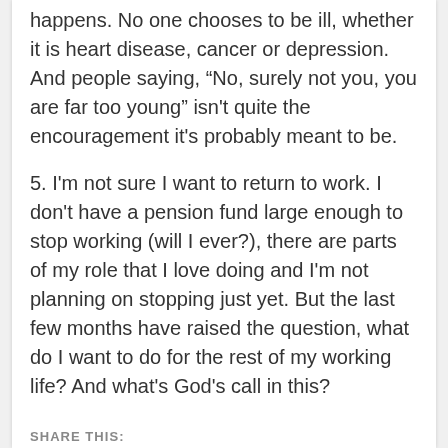happens. No one chooses to be ill, whether it is heart disease, cancer or depression. And people saying, “No, surely not you, you are far too young” isn't quite the encouragement it's probably meant to be.
5. I'm not sure I want to return to work. I don't have a pension fund large enough to stop working (will I ever?), there are parts of my role that I love doing and I'm not planning on stopping just yet. But the last few months have raised the question, what do I want to do for the rest of my working life? And what's God's call in this?
SHARE THIS:
Twitter  Facebook  Like